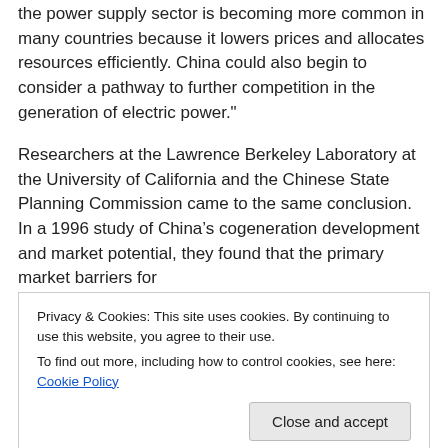the power supply sector is becoming more common in many countries because it lowers prices and allocates resources efficiently. China could also begin to consider a pathway to further competition in the generation of electric power."
Researchers at the Lawrence Berkeley Laboratory at the University of California and the Chinese State Planning Commission came to the same conclusion. In a 1996 study of China's cogeneration development and market potential, they found that the primary market barriers for
Privacy & Cookies: This site uses cookies. By continuing to use this website, you agree to their use.
To find out more, including how to control cookies, see here: Cookie Policy
power producers to receive a fair price for their heat and